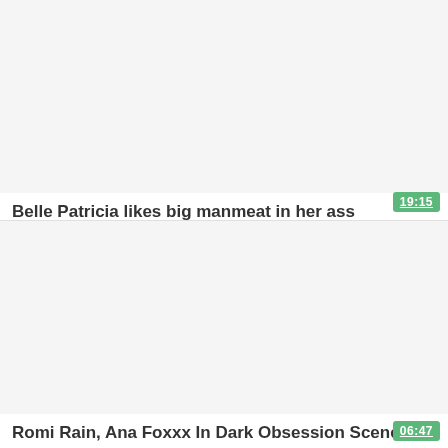[Figure (other): Video thumbnail placeholder for first video card, light background]
Belle Patricia likes big manmeat in her ass
[Figure (other): Video thumbnail placeholder for second video card, light background]
Romi Rain, Ana Foxxx In Dark Obsession Scene Five